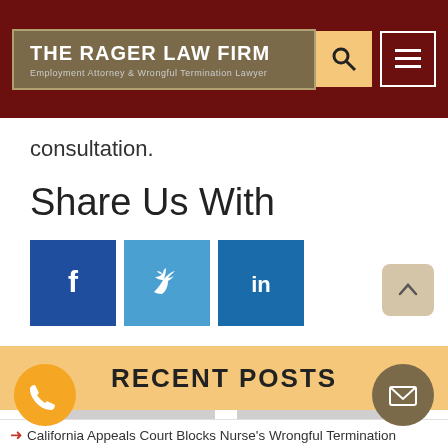THE RAGER LAW FIRM Employment Attorney & Wrongful Termination Lawyer
consultation.
Share Us With
[Figure (other): Social media share buttons: Facebook, Twitter, LinkedIn]
PREV. POST
NEXT POST
RECENT POSTS
California Appeals Court Blocks Nurse's Wrongful Termination